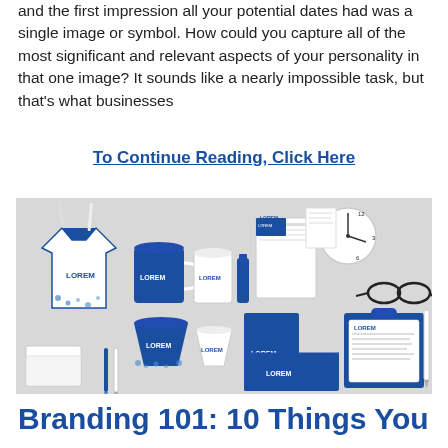and the first impression all your potential dates had was a single image or symbol. How could you capture all of the most significant and relevant aspects of your personality in that one image? It sounds like a nearly impossible task, but that's what businesses
To Continue Reading, Click Here
[Figure (illustration): Corporate branding mockup showing various branded merchandise items including a t-shirt, mug, cups, pens, clock, glasses, clipboard, envelope, and stationery — all with 'LOREM' branding in navy and blue on a grey background.]
Branding 101: 10 Things You